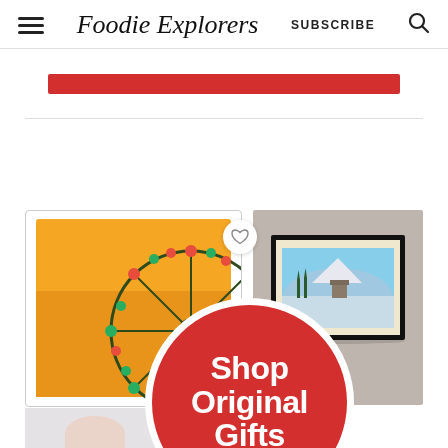Foodie Explorers — SUBSCRIBE
[Figure (screenshot): Website screenshot of Foodie Explorers blog with header navigation (hamburger menu, cursive logo, SUBSCRIBE link, search icon), a red banner bar, and a promotional image section showing a ferris wheel artwork on yellow background, a framed winter landscape photo, and a red circular badge reading 'Shop Original Gifts']